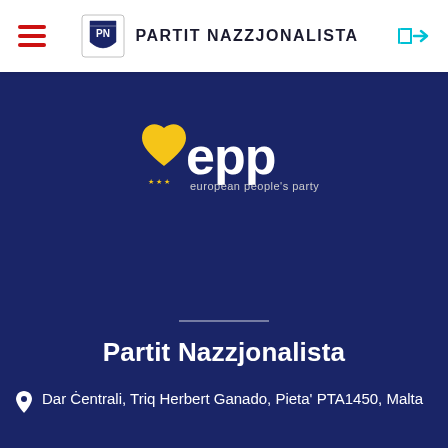Partit Nazzjonalista
[Figure (logo): EPP (European People's Party) logo with yellow heart shape and blue 'epp european people's party' text]
Partit Nazzjonalista
Dar Ċentrali, Triq Herbert Ganado, Pieta' PTA1450, Malta